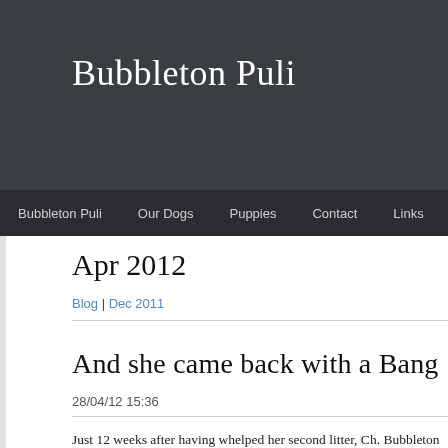Bubbleton Puli
Bubbleton Puli | Our Dogs | Puppies | Contact | Links | Bl
Apr 2012
Blog | Dec 2011
And she came back with a Bang
28/04/12 15:36
Just 12 weeks after having whelped her second litter, Ch. Bubbleton Birthd… better known as JouJou made a return to the show rings.